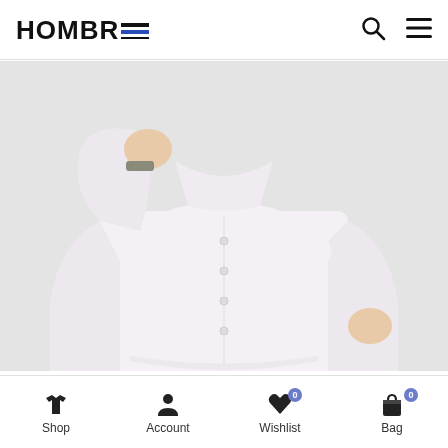HOMBRE
[Figure (photo): Man wearing a white long-sleeve button-up shirt and dark pants, with one hand raised near collar and other hand in pocket, against light grey background]
In Stock
Shop | Account | Wishlist (0) | Bag (0)